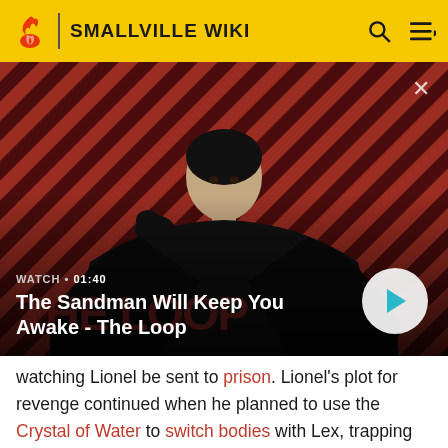SMALLVILLE WIKI
[Figure (screenshot): Video thumbnail showing a dark-cloaked figure with a black bird on their shoulder against a red and black diagonal striped background. Shows 'WATCH • 01:40' label and title 'The Sandman Will Keep You Awake - The Loop' with a play button.]
watching Lionel be sent to prison. Lionel's plot for revenge continued when he planned to use the Crystal of Water to switch bodies with Lex, trapping Lex in prison and enabling him to make his escape. The plan did not work out as planned, as Clark intervened and Lionel